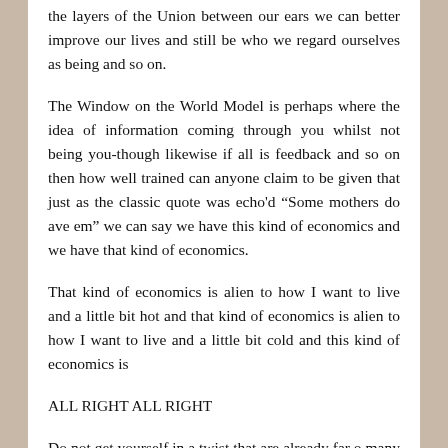the layers of the Union between our ears we can better improve our lives and still be who we regard ourselves as being and so on.
The Window on the World Model is perhaps where the idea of information coming through you whilst not being you-though likewise if all is feedback and so on then how well trained can anyone claim to be given that just as the classic quote was echo'd “Some mothers do ave em” we can say we have this kind of economics and we have that kind of economics.
That kind of economics is alien to how I want to live and a little bit hot and that kind of economics is alien to how I want to live and a little bit cold and this kind of economics is
ALL RIGHT ALL RIGHT
Do not get yourself in a twist that are already far o many peoples and persons within the World who